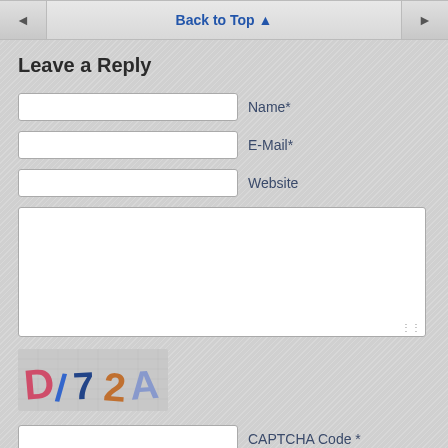Back to Top ▲
Leave a Reply
Name*
E-Mail*
Website
[Figure (other): CAPTCHA image showing distorted text: D/7 2 A with colorful letters on a noisy background]
CAPTCHA Code *
Publish